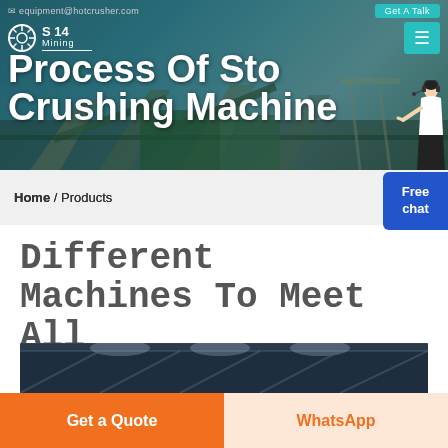equipment@hotcrusher.com   Get A Talk
[Figure (screenshot): Website screenshot showing a mining/crushing equipment company webpage. Header banner with industrial machinery background, logo, navigation, and large title text 'Process Of Stone Crushing Machine'. Below is a breadcrumb bar 'Home / Products', a 'Free chat' button, and heading 'Different Machines To Meet All Need'.]
Process Of Stone Crushing Machine
Home / Products
Different Machines To Meet All Need